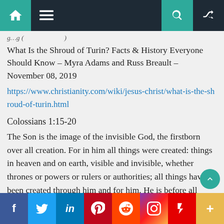Navigation bar with home, menu, search, and random icons
g…g (…)
What Is the Shroud of Turin? Facts & History Everyone Should Know – Myra Adams and Russ Breault – November 08, 2019
https://www.christianity.com/wiki/jesus-christ/what-is-the-shroud-of-turin.html
Colossians 1:15-20
The Son is the image of the invisible God, the firstborn over all creation. For in him all things were created: things in heaven and on earth, visible and invisible, whether thrones or powers or rulers or authorities; all things have been created through him and for him. He is before all things, and in him all things hold together. And he is the head of the body, the church; he is the beginning and the firstborn from among the dead, so
Social share bar: Facebook, Twitter, LinkedIn, Pinterest, Reddit, Instagram, Flipboard, More